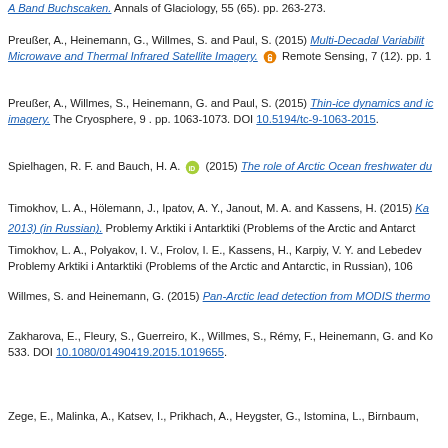A Band Buchscanen. Annals of Glaciology, 55 (65). pp. 263-273.
Preußer, A., Heinemann, G., Willmes, S. and Paul, S. (2015) Multi-Decadal Variability... [open access] Remote Sensing, 7 (12). pp. 1...
Preußer, A., Willmes, S., Heinemann, G. and Paul, S. (2015) Thin-ice dynamics and ice... imagery. The Cryosphere, 9 . pp. 1063-1073. DOI 10.5194/tc-9-1063-2015.
Spielhagen, R. F. and Bauch, H. A. [ORCID] (2015) The role of Arctic Ocean freshwater du...
Timokhov, L. A., Hölemann, J., Ipatov, A. Y., Janout, M. A. and Kassens, H. (2015) Ka... 2013) (in Russian). Problemy Arktiki i Antarktiki (Problems of the Arctic and Antarctic...
Timokhov, L. A., Polyakov, I. V., Frolov, I. E., Kassens, H., Karpiy, V. Y. and Lebedev... Problemy Arktiki i Antarktiki (Problems of the Arctic and Antarctic, in Russian), 106 ...
Willmes, S. and Heinemann, G. (2015) Pan-Arctic lead detection from MODIS thermo...
Zakharova, E., Fleury, S., Guerreiro, K., Willmes, S., Rémy, F., Heinemann, G. and Ko... 533. DOI 10.1080/01490419.2015.1019655.
Zege, E., Malinka, A., Katsev, I., Prikhach, A., Heygster, G., Istomina, L., Birnbaum, ...